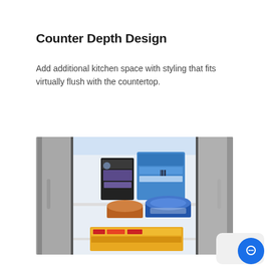Counter Depth Design
Add additional kitchen space with styling that fits virtually flush with the countertop.
[Figure (photo): Open counter-depth refrigerator showing interior freezer compartment with ice cream containers and frozen food items on shelves, stainless steel exterior doors visible on sides.]